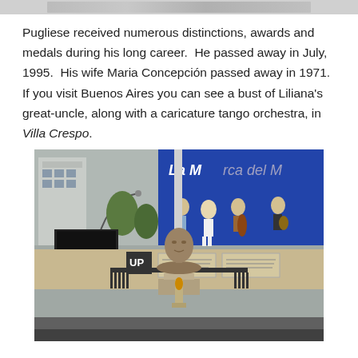[Figure (photo): Partial top strip of a photograph visible at the very top of the page]
Pugliese received numerous distinctions, awards and medals during his long career.  He passed away in July, 1995.  His wife Maria Concepción passed away in 1971. If you visit Buenos Aires you can see a bust of Liliana's great-uncle, along with a caricature tango orchestra, in Villa Crespo.
[Figure (photo): Photograph taken in Villa Crespo, Buenos Aires, showing a bronze bust of Pugliese on a pedestal in the foreground, and behind it a display of caricature tango orchestra figurines on a stage. A blue banner reads 'La Marca del M...' in the background. The scene is an outdoor public square.]